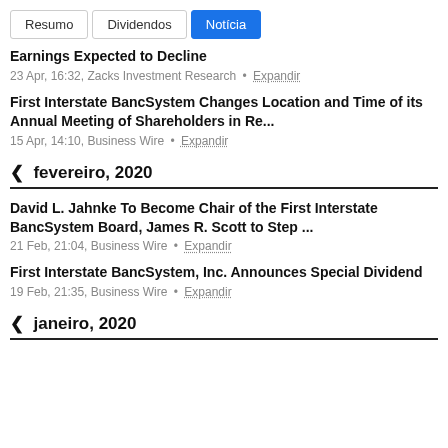Resumo | Dividendos | Noticia
Earnings Expected to Decline
23 Apr, 16:32, Zacks Investment Research • Expandir
First Interstate BancSystem Changes Location and Time of its Annual Meeting of Shareholders in Re...
15 Apr, 14:10, Business Wire • Expandir
❮ fevereiro, 2020
David L. Jahnke To Become Chair of the First Interstate BancSystem Board, James R. Scott to Step ...
21 Feb, 21:04, Business Wire • Expandir
First Interstate BancSystem, Inc. Announces Special Dividend
19 Feb, 21:35, Business Wire • Expandir
❮ janeiro, 2020